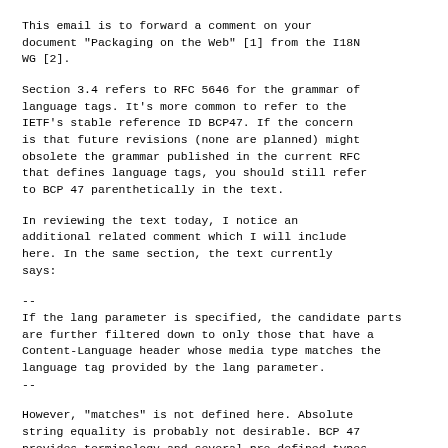This email is to forward a comment on your document "Packaging on the Web" [1] from the I18N WG [2].
Section 3.4 refers to RFC 5646 for the grammar of language tags. It's more common to refer to the IETF's stable reference ID BCP47. If the concern is that future revisions (none are planned) might obsolete the grammar published in the current RFC that defines language tags, you should still refer to BCP 47 parenthetically in the text.
In reviewing the text today, I notice an additional related comment which I will include here. In the same section, the text currently says:
--
If the lang parameter is specified, the candidate parts are further filtered down to only those that have a Content-Language header whose media type matches the language tag provided by the lang parameter.
--
However, "matches" is not defined here. Absolute string equality is probably not desirable. BCP 47 provides terminology and several pre-defined types of matching. I'd suggest that the recommended...